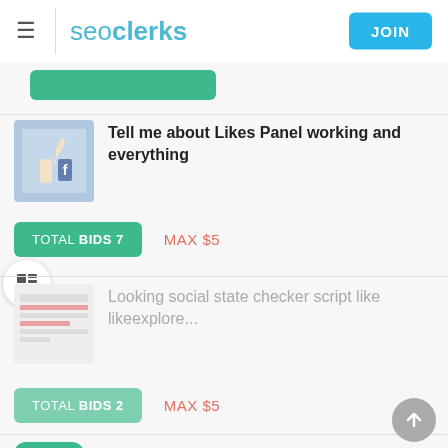seoclerks | JOIN
[Figure (screenshot): Partial green button at top of list]
Tell me about Likes Panel working and everything
TOTAL BIDS 7   MAX $5
Looking social state checker script like likeexplore...
TOTAL BIDS 2   MAX $5
Teach me how to unfollow people on vine
TOTAL BIDS 9   MAX $3